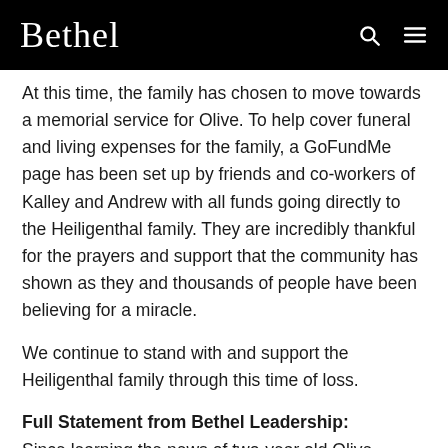Bethel
At this time, the family has chosen to move towards a memorial service for Olive. To help cover funeral and living expenses for the family, a GoFundMe page has been set up by friends and co-workers of Kalley and Andrew with all funds going directly to the Heiligenthal family. They are incredibly thankful for the prayers and support that the community has shown as they and thousands of people have been believing for a miracle.
We continue to stand with and support the Heiligenthal family through this time of loss.
Full Statement from Bethel Leadership:
Since learning the news of two-year old Olive Heiligenthal's sudden death, we have sought a miracle from God to raise